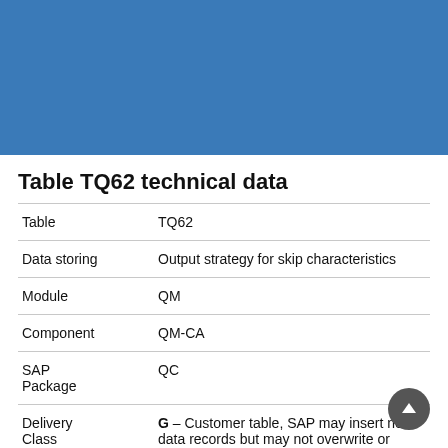[Figure (other): Blue decorative header banner]
Table TQ62 technical data
| Table | TQ62 |
| Data storing | Output strategy for skip characteristics |
| Module | QM |
| Component | QM-CA |
| SAP Package | QC |
| Delivery Class | G – Customer table, SAP may insert new data records but may not overwrite or delete |